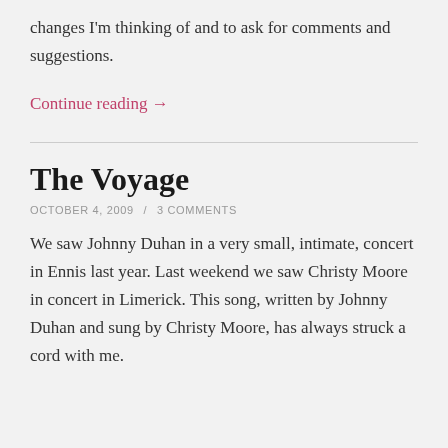changes I'm thinking of and to ask for comments and suggestions.
Continue reading →
The Voyage
OCTOBER 4, 2009 / 3 COMMENTS
We saw Johnny Duhan in a very small, intimate, concert in Ennis last year. Last weekend we saw Christy Moore in concert in Limerick. This song, written by Johnny Duhan and sung by Christy Moore, has always struck a cord with me.